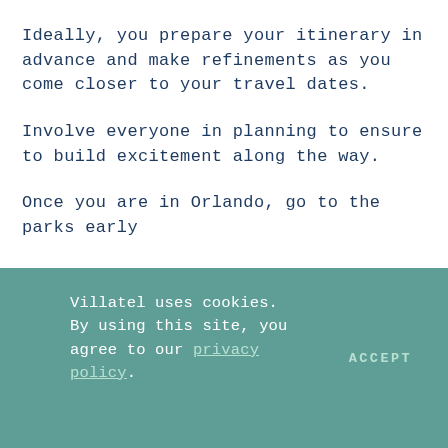Ideally, you prepare your itinerary in advance and make refinements as you come closer to your travel dates.
Involve everyone in planning to ensure to build excitement along the way.
Once you are in Orlando, go to the parks early
Villatel uses cookies. By using this site, you agree to our privacy policy.
ACCEPT